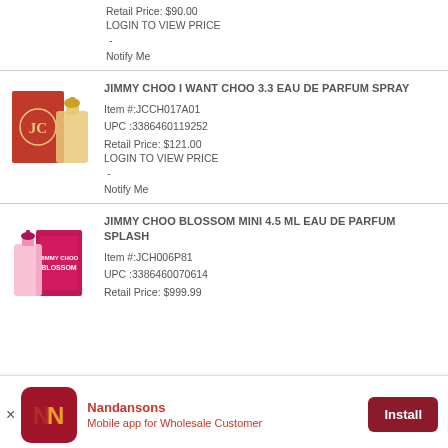Retail Price: $90.00
LOGIN TO VIEW PRICE
-
Notify Me
[Figure (photo): Jimmy Choo I Want Choo perfume bottle and red box]
JIMMY CHOO I WANT CHOO 3.3 EAU DE PARFUM SPRAY
Item #:JCCH017A01
UPC :3386460119252
Retail Price: $121.00
LOGIN TO VIEW PRICE
-
Notify Me
[Figure (photo): Jimmy Choo Blossom mini perfume bottle and pink box]
JIMMY CHOO BLOSSOM MINI 4.5 ML EAU DE PARFUM SPLASH
Item #:JCH006P81
UPC :3386460070614
Retail Price: $999.99
Nandansons
Mobile app for Wholesale Customer
Install